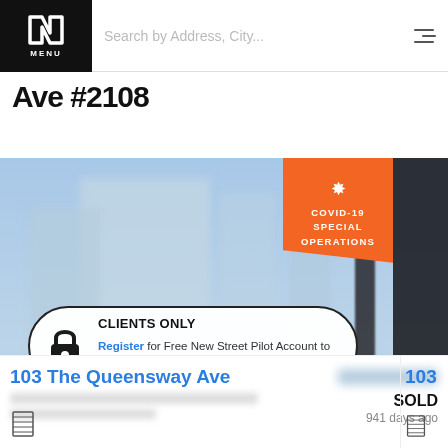Search by Address, City...
Ave #2108
[Figure (screenshot): Blurred property photo of a glass building with blue sky background, with a COVID-19 Special Operations orange badge in the top-right corner and a 'CLIENTS ONLY - Register for Free New Street Pilot Account to access information.' popup overlay in the center.]
CLIENTS ONLY Register for Free New Street Pilot Account to access information.
103 The Queensway Ave
SOLD
941 days ago
103